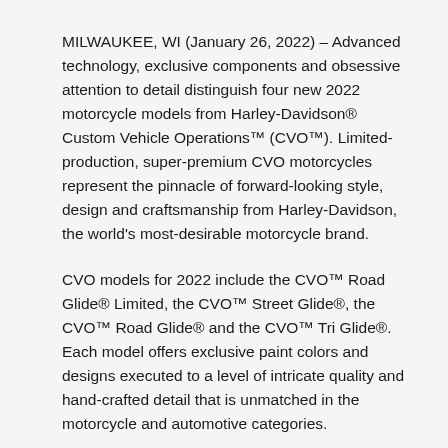MILWAUKEE, WI (January 26, 2022) – Advanced technology, exclusive components and obsessive attention to detail distinguish four new 2022 motorcycle models from Harley-Davidson® Custom Vehicle Operations™ (CVO™). Limited-production, super-premium CVO motorcycles represent the pinnacle of forward-looking style, design and craftsmanship from Harley-Davidson, the world's most-desirable motorcycle brand.
CVO models for 2022 include the CVO™ Road Glide® Limited, the CVO™ Street Glide®, the CVO™ Road Glide® and the CVO™ Tri Glide®. Each model offers exclusive paint colors and designs executed to a level of intricate quality and hand-crafted detail that is unmatched in the motorcycle and automotive categories.